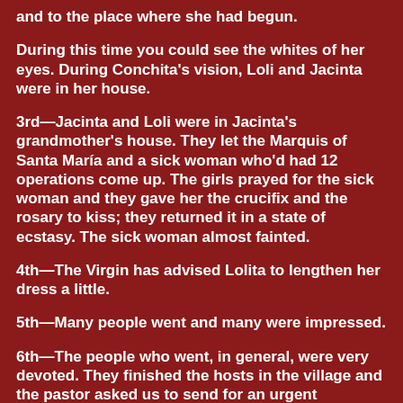and to the place where she had begun.
During this time you could see the whites of her eyes. During Conchita's vision, Loli and Jacinta were in her house.
3rd—Jacinta and Loli were in Jacinta's grandmother's house. They let the Marquis of Santa María and a sick woman who'd had 12 operations come up. The girls prayed for the sick woman and they gave her the crucifix and the rosary to kiss; they returned it in a state of ecstasy. The sick woman almost fainted.
4th—The Virgin has advised Lolita to lengthen her dress a little.
5th—Many people went and many were impressed.
6th—The people who went, in general, were very devoted. They finished the hosts in the village and the pastor asked us to send for an urgent shipment of hosts.